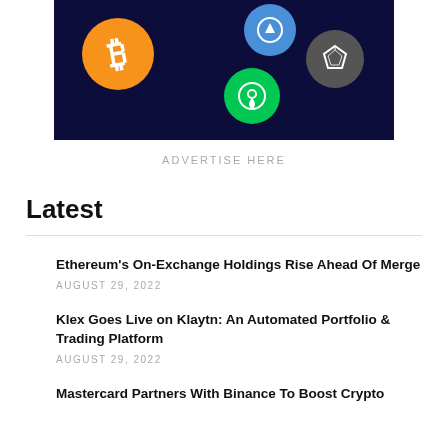[Figure (illustration): Crypto currency banner showing Bitcoin (orange coin), a blue coin, green coin with location pin icon, and gray diamond coin on dark navy background]
ADVERTISE HERE
Latest
Ethereum's On-Exchange Holdings Rise Ahead Of Merge
AUGUST 29, 2022
Klex Goes Live on Klaytn: An Automated Portfolio & Trading Platform
AUGUST 29, 2022
Mastercard Partners With Binance To Boost Crypto